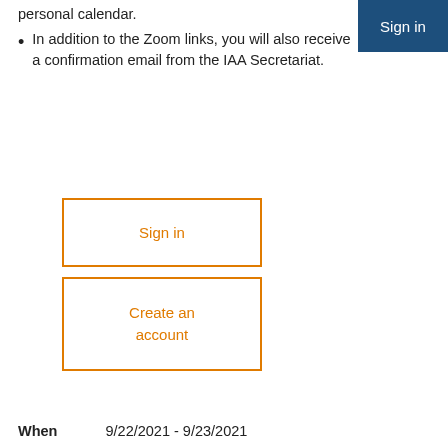Sign in
personal calendar.
In addition to the Zoom links, you will also receive a confirmation email from the IAA Secretariat.
[Figure (other): Sign in button with orange border]
[Figure (other): Create an account button with orange border]
When   9/22/2021 - 9/23/2021